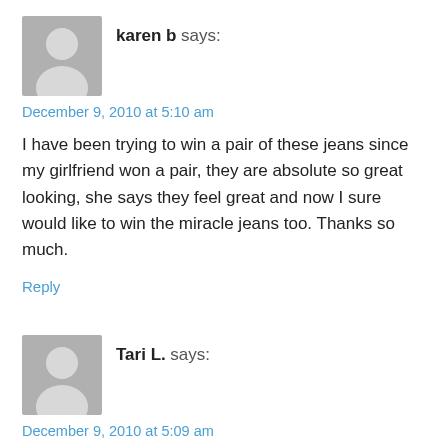[Figure (illustration): Generic grey avatar/person icon for commenter karen b]
karen b says:
December 9, 2010 at 5:10 am
I have been trying to win a pair of these jeans since my girlfriend won a pair, they are absolute so great looking, she says they feel great and now I sure would like to win the miracle jeans too. Thanks so much.
Reply
[Figure (illustration): Generic grey avatar/person icon for commenter Tari L.]
Tari L. says:
December 9, 2010 at 5:09 am
I like the look of skinny jeans, but I have yet to find any that look good on me. I have not tried Miraclbody jeans.